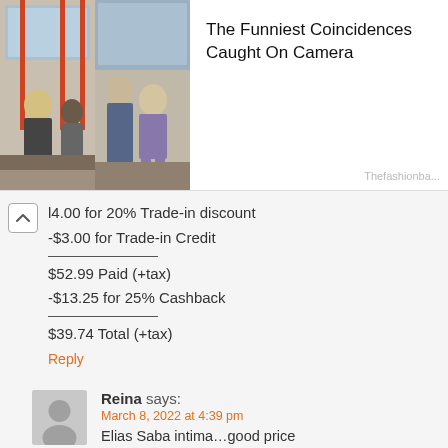[Figure (photo): Advertisement banner with two transit/bus scene photos side by side, and text 'The Funniest Coincidences Caught On Camera' with source 'Thefashionba...']
l4.00 for 20% Trade-in discount
-$3.00 for Trade-in Credit

$52.99 Paid (+tax)
-$13.25 for 25% Cashback

$39.74 Total (+tax)
Reply
Reina says:
March 8, 2022 at 4:39 pm
Elias Saba intima...good price
Reply
Rik Emmett says: